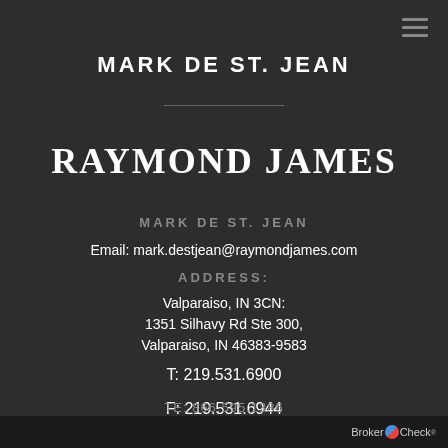MARK DE ST. JEAN
[Figure (logo): RAYMOND JAMES logo in bold serif font]
MARK DE ST. JEAN
Email: mark.destjean@raymondjames.com
ADDRESS:
Valparaiso, IN 3CN:
1351 Silhavy Rd Ste 300,
Valparaiso, IN 46383-9583
T: 219.531.6900
F: 219.531.6944
TE: 866.595.1386
[Figure (logo): BrokerCheck logo at bottom right]